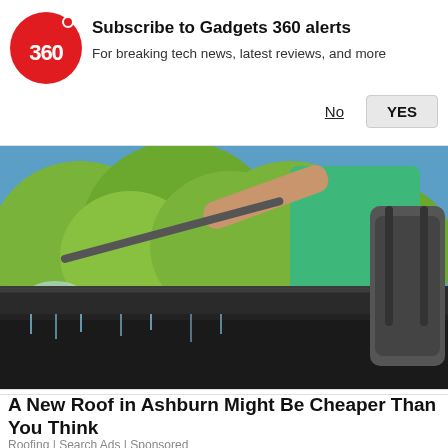[Figure (logo): Gadgets 360 red circular logo with '360' text in white]
Subscribe to Gadgets 360 alerts
For breaking tech news, latest reviews, and more
No   YES
[Figure (photo): A worker in a green shirt pressure washing a roof gutter, with green trees in the background]
A New Roof in Ashburn Might Be Cheaper Than You Think
Roofing | Search Ads | Sponsored
[Figure (photo): Partial view of a second advertisement with red background and a cricket/baseball player]